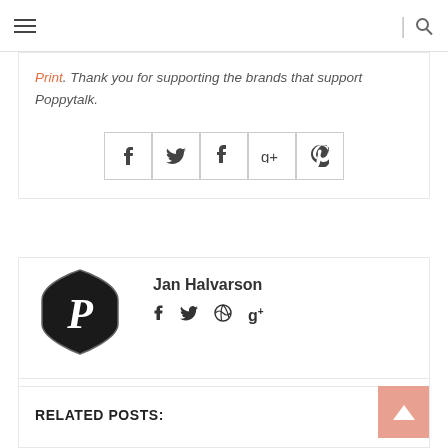Navigation bar with hamburger menu and search icon
Print. Thank you for supporting the brands that support Poppytalk.
[Figure (other): Social sharing icons row: Facebook, Twitter, Tumblr, Google+, Pinterest]
[Figure (logo): Poppytalk logo: black shield with letter P]
Jan Halvarson
[Figure (other): Author social icons: Facebook, Twitter, website/dribbble, Google+]
[Figure (other): Scroll to top button with upward arrow]
RELATED POSTS: